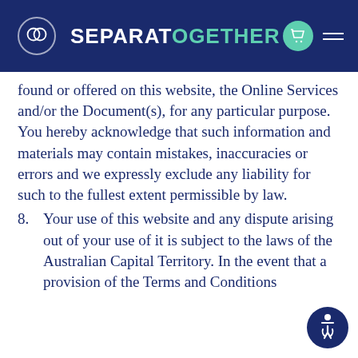SEPARATOGETHER
found or offered on this website, the Online Services and/or the Document(s), for any particular purpose. You hereby acknowledge that such information and materials may contain mistakes, inaccuracies or errors and we expressly exclude any liability for such to the fullest extent permissible by law.
8. Your use of this website and any dispute arising out of your use of it is subject to the laws of the Australian Capital Territory. In the event that a provision of the Terms and Conditions